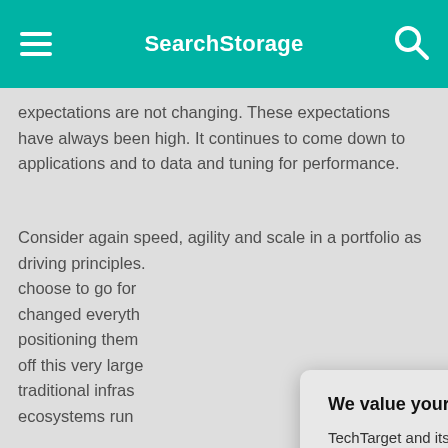SearchStorage
expectations are not changing. These expectations have always been high. It continues to come down to applications and to data and tuning for performance.
Consider again speed, agility and scale in a portfolio as driving principles. choose to go for changed everyth positioning them off this very large traditional infras ecosystems run
Influence, buying are changing as itself balancing t developers. And
[Figure (screenshot): Privacy consent modal dialog with title 'We value your privacy.' and buttons 'OK' and 'Settings'. Text reads: TechTarget and its partners employ cookies to improve your experience on our site, to analyze traffic and performance, and to serve personalized content and advertising that are relevant to your professional interests. You can manage your settings at any time. Please view our Privacy Policy for more information.]